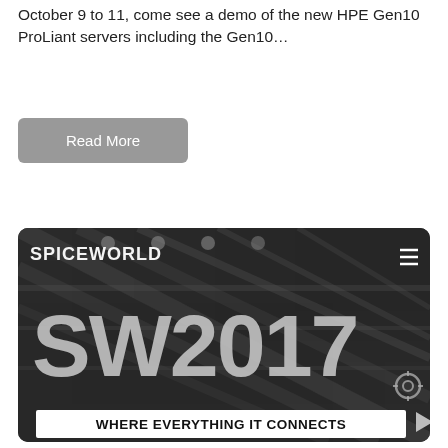October 9 to 11, come see a demo of the new HPE Gen10 ProLiant servers including the Gen10…
Read More
[Figure (screenshot): SpiceWorld 2017 conference website screenshot showing 'SPICEWORLD' header text, large 'SW2017' text, and banner reading 'WHERE EVERYTHING IT CONNECTS' on a dark background with industrial ceiling imagery]